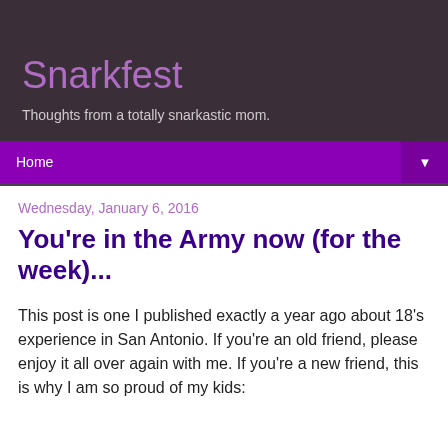Snarkfest
Thoughts from a totally snarkastic mom.
Home
Wednesday, January 6, 2016
You're in the Army now (for the week)...
This post is one I published exactly a year ago about 18's experience in San Antonio. If you're an old friend, please enjoy it all over again with me. If you're a new friend, this is why I am so proud of my kids: